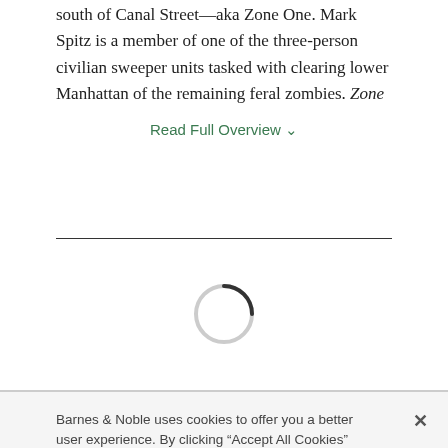south of Canal Street—aka Zone One. Mark Spitz is a member of one of the three-person civilian sweeper units tasked with clearing lower Manhattan of the remaining feral zombies. Zone
Read Full Overview ˅
[Figure (other): Circular loading spinner icon]
Barnes & Noble uses cookies to offer you a better user experience. By clicking "Accept All Cookies" you agree to the storing of cookies on your device in accordance with our Cookie Policy
Manage Preferences
Accept All Cookies